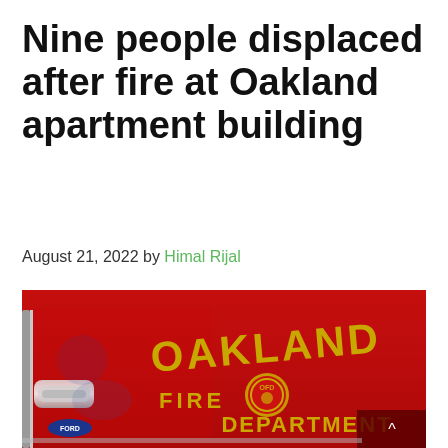Nine people displaced after fire at Oakland apartment building
August 21, 2022 by Himal Rijal
[Figure (photo): Close-up photograph of a red Oakland Fire Department fire truck door showing the gold lettering 'OAKLAND FIRE DEPARTMENT' and the department badge/logo in the center.]